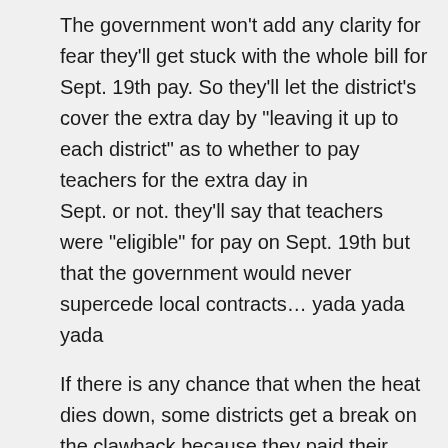The government won't add any clarity for fear they'll get stuck with the whole bill for Sept. 19th pay. So they'll let the district's cover the extra day by "leaving it up to each district" as to whether to pay teachers for the extra day in Sept. or not. they'll say that teachers were "eligible" for pay on Sept. 19th but that the government would never supercede local contracts... yada yada yada
If there is any chance that when the heat dies down, some districts get a break on the clawback because they paid their teachers an extra day, it will not only be disgraceful optics, but a complete travesty.